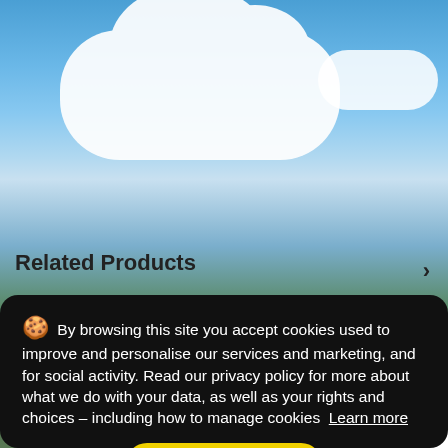[Figure (photo): Mountain landscape with blue sky and white clouds]
Related Products
🍪 By browsing this site you accept cookies used to improve and personalise our services and marketing, and for social activity. Read our privacy policy for more about what we do with your data, as well as your rights and choices – including how to manage cookies  Learn more
Got it!